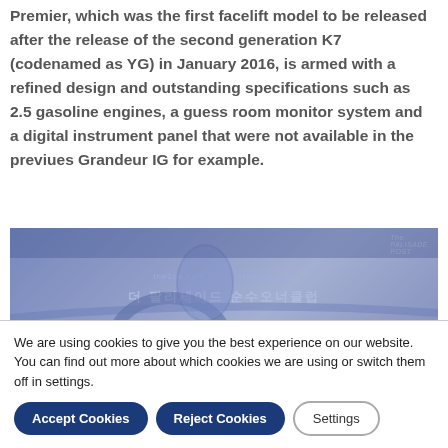Premier, which was the first facelift model to be released after the release of the second generation K7 (codenamed as YG) in January 2016, is armed with a refined design and outstanding specifications such as 2.5 gasoline engines, a guess room monitor system and a digital instrument panel that were not available in the previues Grandeur IG for example.
[Figure (photo): Interior photo of a car dashboard/cabin with blue tint overlay, Korean text overlay reading '더 팔리세이드 순수오너클럽', and website watermarks 'the1ca.com' visible.]
We are using cookies to give you the best experience on our website.
You can find out more about which cookies we are using or switch them off in settings.